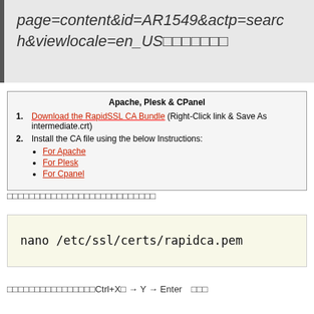page=content&id=AR1549&actp=search&viewlocale=en_US□□□□□□□
Apache, Plesk & CPanel
1. Download the RapidSSL CA Bundle (Right-Click link & Save As intermediate.crt)
2. Install the CA file using the below Instructions:
• For Apache
• For Plesk
• For Cpanel
□□□□□□□□□□□□□□□□□□□□□□□□□□□
nano /etc/ssl/certs/rapidca.pem
□□□□□□□□□□□□□□□□Ctrl+X□ → Y → Enter　□□□